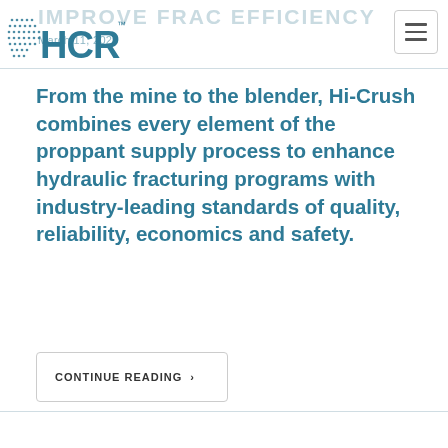IMPROVE FRAC EFFICIENCY
[Figure (logo): HCR logo with dot-matrix grid pattern on the left side and bold teal HCR text with TM mark]
From the mine to the blender, Hi-Crush combines every element of the proppant supply process to enhance hydraulic fracturing programs with industry-leading standards of quality, reliability, economics and safety.
CONTINUE READING >